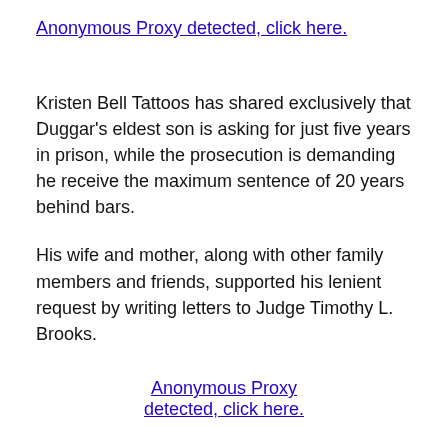Anonymous Proxy detected, click here.
Kristen Bell Tattoos has shared exclusively that Duggar's eldest son is asking for just five years in prison, while the prosecution is demanding he receive the maximum sentence of 20 years behind bars.
His wife and mother, along with other family members and friends, supported his lenient request by writing letters to Judge Timothy L. Brooks.
Anonymous Proxy detected, click here.